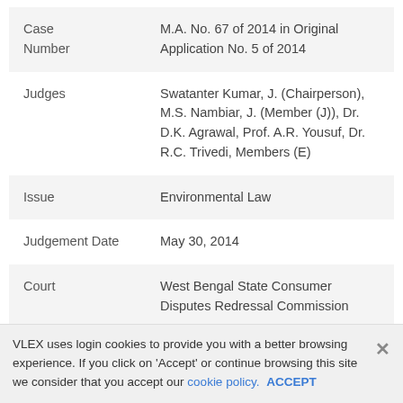| Field | Value |
| --- | --- |
| Case Number | M.A. No. 67 of 2014 in Original Application No. 5 of 2014 |
| Judges | Swatanter Kumar, J. (Chairperson), M.S. Nambiar, J. (Member (J)), Dr. D.K. Agrawal, Prof. A.R. Yousuf, Dr. R.C. Trivedi, Members (E) |
| Issue | Environmental Law |
| Judgement Date | May 30, 2014 |
| Court | West Bengal State Consumer Disputes Redressal Commission |
Judgment:
VLEX uses login cookies to provide you with a better browsing experience. If you click on 'Accept' or continue browsing this site we consider that you accept our cookie policy. ACCEPT